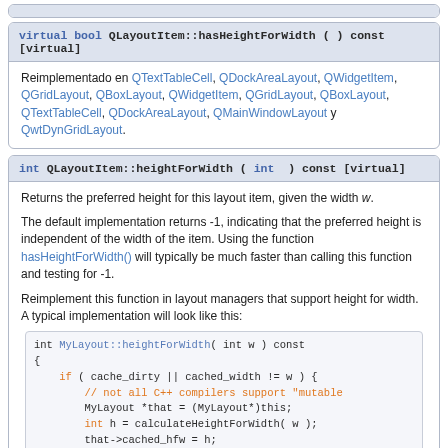virtual bool QLayoutItem::hasHeightForWidth ( ) const [virtual]
Reimplementado en QTextTableCell, QDockAreaLayout, QWidgetItem, QGridLayout, QBoxLayout, QWidgetItem, QGridLayout, QBoxLayout, QTextTableCell, QDockAreaLayout, QMainWindowLayout y QwtDynGridLayout.
int QLayoutItem::heightForWidth ( int ) const [virtual]
Returns the preferred height for this layout item, given the width w.
The default implementation returns -1, indicating that the preferred height is independent of the width of the item. Using the function hasHeightForWidth() will typically be much faster than calling this function and testing for -1.
Reimplement this function in layout managers that support height for width. A typical implementation will look like this: